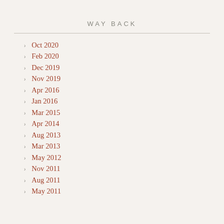WAY BACK
Oct 2020
Feb 2020
Dec 2019
Nov 2019
Apr 2016
Jan 2016
Mar 2015
Apr 2014
Aug 2013
Mar 2013
May 2012
Nov 2011
Aug 2011
May 2011